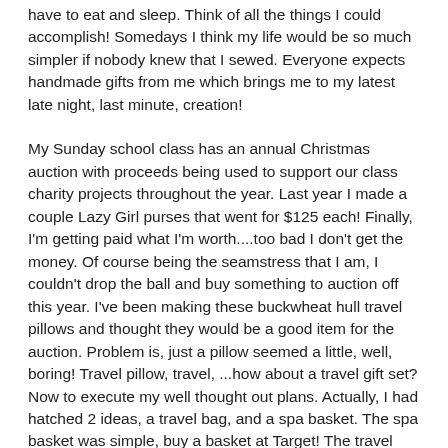have to eat and sleep. Think of all the things I could accomplish! Somedays I think my life would be so much simpler if nobody knew that I sewed. Everyone expects handmade gifts from me which brings me to my latest late night, last minute, creation!
My Sunday school class has an annual Christmas auction with proceeds being used to support our class charity projects throughout the year. Last year I made a couple Lazy Girl purses that went for $125 each! Finally, I'm getting paid what I'm worth....too bad I don't get the money. Of course being the seamstress that I am, I couldn't drop the ball and buy something to auction off this year. I've been making these buckwheat hull travel pillows and thought they would be a good item for the auction. Problem is, just a pillow seemed a little, well, boring! Travel pillow, travel, ...how about a travel gift set? Now to execute my well thought out plans. Actually, I had hatched 2 ideas, a travel bag, and a spa basket. The spa basket was simple, buy a basket at Target! The travel bag, well, that needed just the right bag to bring the set together.